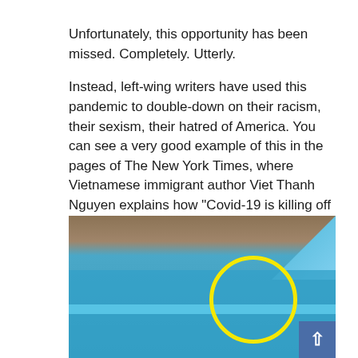Unfortunately, this opportunity has been missed. Completely. Utterly.

Instead, left-wing writers have used this pandemic to double-down on their racism, their sexism, their hatred of America. You can see a very good example of this in the pages of The New York Times, where Vietnamese immigrant author Viet Thanh Nguyen explains how “Covid-19 is killing off the myth that we are the greatest country on earth.”
[Figure (photo): Photo of people in a backyard swimming pool. A yellow circle highlights a person visible in the water on the right side of the image. A blue water slide is visible in the upper right. A back-to-top navigation button is in the lower right corner.]